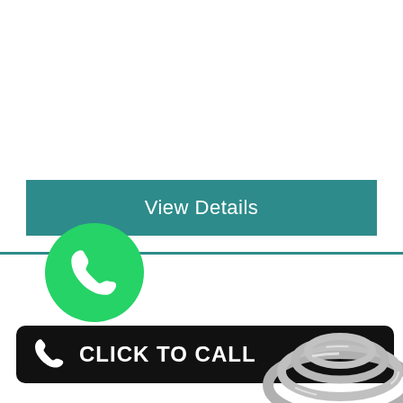[Figure (screenshot): A teal/green 'View Details' button centered on white background, followed by a teal horizontal divider line]
[Figure (logo): WhatsApp green circle logo with white phone handset icon]
[Figure (photo): Coiled grey wire or cable visible at bottom right]
CLICK TO CALL